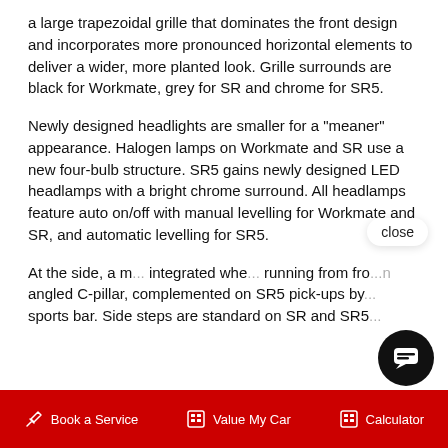a large trapezoidal grille that dominates the front design and incorporates more pronounced horizontal elements to deliver a wider, more planted look. Grille surrounds are black for Workmate, grey for SR and chrome for SR5.
Newly designed headlights are smaller for a "meaner" appearance. Halogen lamps on Workmate and SR use a new four-bulb structure. SR5 gains newly designed LED headlamps with a bright chrome surround. All headlamps feature auto on/off with manual levelling for Workmate and SR, and automatic levelling for SR5.
At the side, a m... integrated whe... running from fro... angled C-pillar, complemented on SR5 pick-ups by ... sports bar. Side steps are standard on SR and SR5...
[Figure (other): Live chat popup with avatar photo of a person, text 'Hi there, have a question? Ask us here.' and a close button. Also a dark circular chat icon button at bottom right.]
Book a Service   Value My Car   Calculator